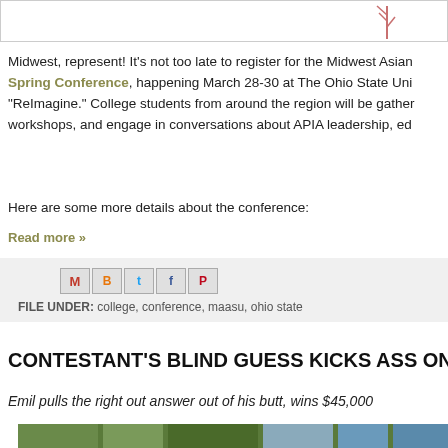[Figure (illustration): Top banner image with a decorative element (a fork/branch shape in pink/red) on the right side against a white background with a border]
Midwest, represent! It's not too late to register for the Midwest Asian Spring Conference, happening March 28-30 at The Ohio State Uni... "ReImagine." College students from around the region will be gather... workshops, and engage in conversations about APIA leadership, ed...
Here are some more details about the conference:
Read more »
[Figure (screenshot): Social sharing icons row: Gmail (M), Blogger (B), Twitter (t), Facebook (f), Pinterest (P)]
FILE UNDER: college, conference, maasu, ohio state
CONTESTANT'S BLIND GUESS KICKS ASS ON
Emil pulls the right out answer out of his butt, wins $45,000
[Figure (photo): Partial photo of trees with green foliage against a blue sky]